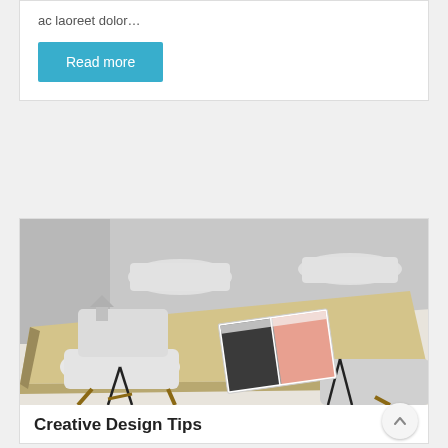ac laoreet dolor…
Read more
[Figure (photo): A light wood conference table with white Eames-style chairs around it, viewed from an angle. A magazine or booklet is open on the table surface. The room has grey walls and a light floor.]
Creative Design Tips